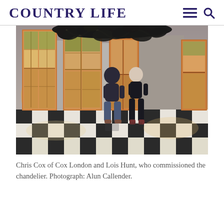COUNTRY LIFE
[Figure (photo): Two people standing in an elegant hallway with large floor-to-ceiling windows, a black and white checkerboard marble floor, and a large dark leaf chandelier hanging from the ceiling. The room has warm golden light coming through the windows.]
Chris Cox of Cox London and Lois Hunt, who commissioned the chandelier. Photograph: Alun Callender.